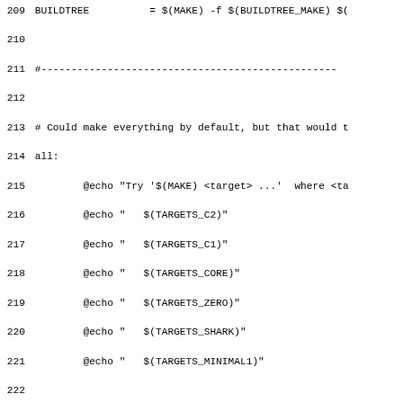Source code / Makefile excerpt, lines 209-238